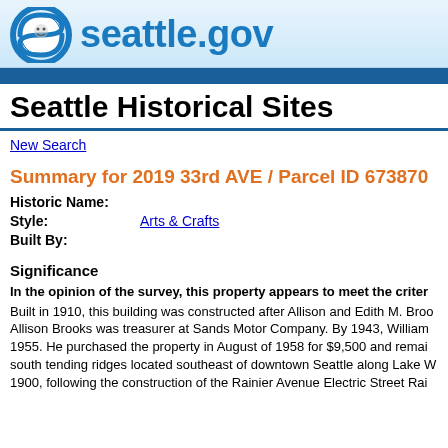seattle.gov
Seattle Historical Sites
New Search
Summary for 2019 33rd AVE / Parcel ID 673870
Historic Name:
Style: Arts & Crafts
Built By:
Significance
In the opinion of the survey, this property appears to meet the criter
Built in 1910, this building was constructed after Allison and Edith M. Broo Allison Brooks was treasurer at Sands Motor Company. By 1943, William 1955. He purchased the property in August of 1958 for $9,500 and remai south tending ridges located southeast of downtown Seattle along Lake W 1900, following the construction of the Rainier Avenue Electric Street Rai